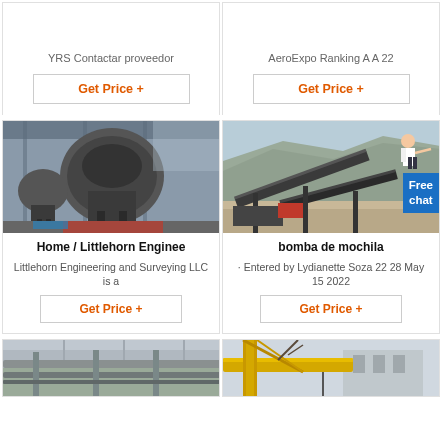YRS Contactar proveedor
Get Price +
AeroExpo Ranking A A 22
Get Price +
[Figure (photo): Industrial machine (vertical shaft impact crusher) inside a factory/warehouse]
Home / Littlehorn Enginee
Littlehorn Engineering and Surveying LLC is a
Get Price +
[Figure (photo): Outdoor quarry/construction site with conveyor belts and rocky terrain. A woman figure and 'Free chat' badge overlay.]
bomba de mochila
· Entered by Lydianette Soza 22 28 May 15 2022
Get Price +
[Figure (photo): Partial view of industrial piping/ceiling structure (bottom of page, cropped)]
[Figure (photo): Partial view of yellow crane/industrial structure outdoors (bottom of page, cropped)]